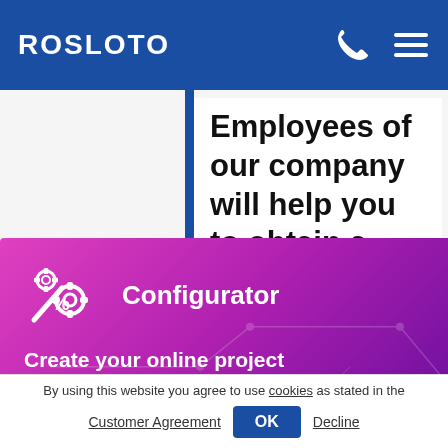ROSLOTO
Employees of our company will help you to obtain a license...
[Figure (screenshot): Configurator popup modal with pink-to-purple gradient background, gear/settings icon with percentage symbol, title 'Configurator', subtitle 'Create your online project absolutely free!', and a dark purple 'Create a casino' button.]
By using this website you agree to use cookies as stated in the Customer Agreement
OK Decline